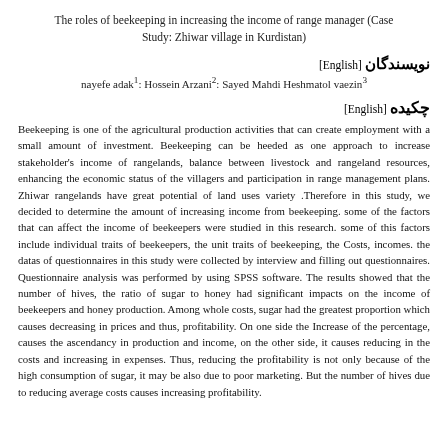The roles of beekeeping in increasing the income of range manager (Case Study: Zhiwar village in Kurdistan)
نویسندگان [English]
nayefe adak¹: Hossein Arzani²: Sayed Mahdi Heshmatol vaezin³
چکیده [English]
Beekeeping is one of the agricultural production activities that can create employment with a small amount of investment. Beekeeping can be heeded as one approach to increase stakeholder's income of rangelands, balance between livestock and rangeland resources, enhancing the economic status of the villagers and participation in range management plans. Zhiwar rangelands have great potential of land uses variety .Therefore in this study, we decided to determine the amount of increasing income from beekeeping. some of the factors that can affect the income of beekeepers were studied in this research. some of this factors include individual traits of beekeepers, the unit traits of beekeeping, the Costs, incomes. the datas of questionnaires in this study were collected by interview and filling out questionnaires. Questionnaire analysis was performed by using SPSS software. The results showed that the number of hives, the ratio of sugar to honey had significant impacts on the income of beekeepers and honey production. Among whole costs, sugar had the greatest proportion which causes decreasing in prices and thus, profitability. On one side the Increase of the percentage, causes the ascendancy in production and income, on the other side, it causes reducing in the costs and increasing in expenses. Thus, reducing the profitability is not only because of the high consumption of sugar, it may be also due to poor marketing. But the number of hives due to reducing average costs causes increasing profitability.